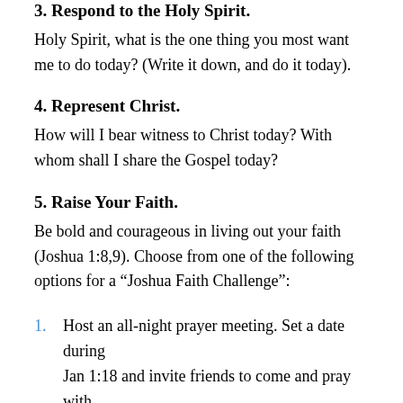3. Respond to the Holy Spirit.
Holy Spirit, what is the one thing you most want me to do today? (Write it down, and do it today).
4. Represent Christ.
How will I bear witness to Christ today? With whom shall I share the Gospel today?
5. Raise Your Faith.
Be bold and courageous in living out your faith (Joshua 1:8,9). Choose from one of the following options for a “Joshua Faith Challenge”:
Host an all-night prayer meeting. Set a date during
Jan 1:18 and invite friends to come and pray with